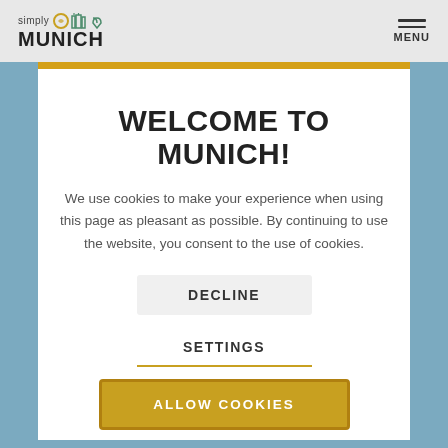simply MUNICH — MENU
[Figure (screenshot): Blue background photo partially visible behind modal]
WELCOME TO MUNICH!
We use cookies to make your experience when using this page as pleasant as possible. By continuing to use the website, you consent to the use of cookies.
DECLINE
SETTINGS
ALLOW COOKIES